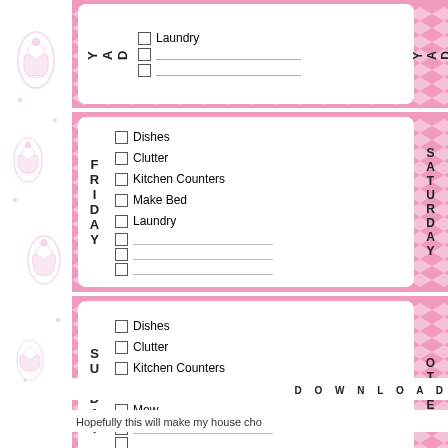[Figure (illustration): Left decorative border with pink floral/paisley pattern on white background]
DAY (partial top section) with checkboxes: Laundry, blank, blank
FRIDAY with checkboxes: Dishes, Clutter, Kitchen Counters, Make Bed, Laundry, blank, blank, blank. Right label: SATURDAY
SUNDAY with checkboxes: Dishes, Clutter, Kitchen Counters, Make Bed, Mow, blank, blank, blank. Right label: OTHER
DOWNLOAD
Hopefully this will make my house cho